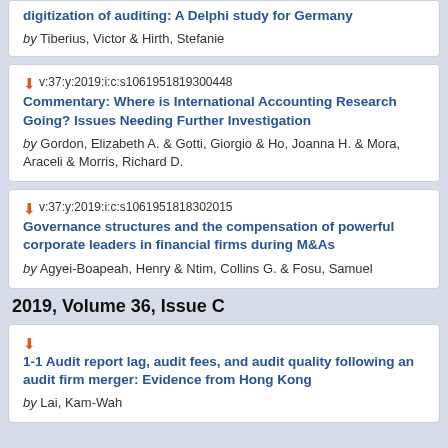by Tiberius, Victor & Hirth, Stefanie
v:37:y:2019:i:c:s1061951819300448 Commentary: Where is International Accounting Research Going? Issues Needing Further Investigation by Gordon, Elizabeth A. & Gotti, Giorgio & Ho, Joanna H. & Mora, Araceli & Morris, Richard D.
v:37:y:2019:i:c:s1061951818302015 Governance structures and the compensation of powerful corporate leaders in financial firms during M&As by Agyei-Boapeah, Henry & Ntim, Collins G. & Fosu, Samuel
2019, Volume 36, Issue C
1-1 Audit report lag, audit fees, and audit quality following an audit firm merger: Evidence from Hong Kong by Lai, Kam-Wah